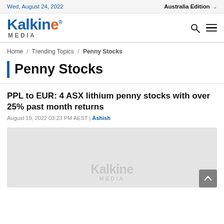Wed, August 24, 2022 | Australia Edition
[Figure (logo): Kalkine Media logo — blue 'Kalkine' wordmark with orange 'e', grey 'MEDIA' text below]
Home / Trending Topics / Penny Stocks
Penny Stocks
PPL to EUR: 4 ASX lithium penny stocks with over 25% past month returns
August 19, 2022 03:23 PM AEST | Ashish
[Figure (photo): Light grey placeholder image with Kalkine Media watermark text]